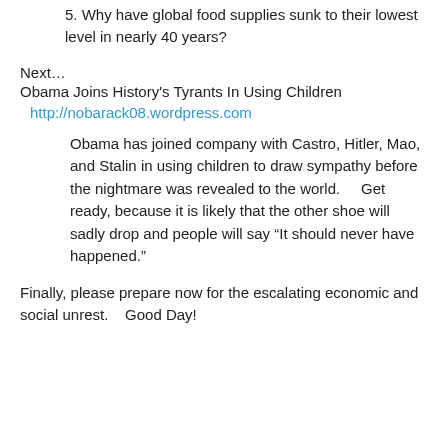5. Why have global food supplies sunk to their lowest level in nearly 40 years?
Next…
Obama Joins History's Tyrants In Using Children
http://nobarack08.wordpress.com
Obama has joined company with Castro, Hitler, Mao, and Stalin in using children to draw sympathy before the nightmare was revealed to the world.     Get ready, because it is likely that the other shoe will sadly drop and people will say “It should never have happened.”
Finally, please prepare now for the escalating economic and social unrest.    Good Day!